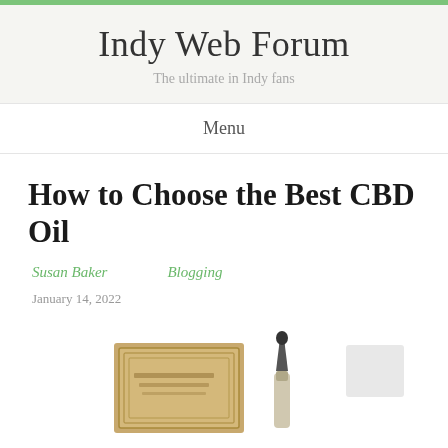Indy Web Forum
The ultimate in Indy fans
Menu
How to Choose the Best CBD Oil
Susan Baker   Blogging
January 14, 2022
[Figure (photo): CBD oil bottle dropper and product box]